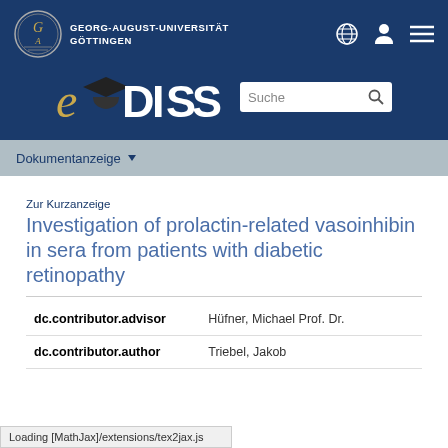GEORG-AUGUST-UNIVERSITÄT GÖTTINGEN — eDiss — Suche
Dokumentanzeige
Zur Kurzanzeige
Investigation of prolactin-related vasoinhibin in sera from patients with diabetic retinopathy
| Field | Value |
| --- | --- |
| dc.contributor.advisor | Hüfner, Michael Prof. Dr. |
| dc.contributor.author | Triebel, Jakob |
Loading [MathJax]/extensions/tex2jax.js